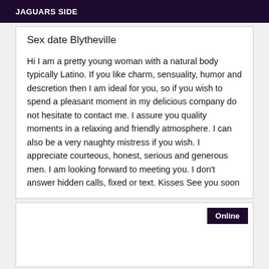JAGUARS SIDE
Sex date Blytheville
Hi I am a pretty young woman with a natural body typically Latino. If you like charm, sensuality, humor and descretion then I am ideal for you, so if you wish to spend a pleasant moment in my delicious company do not hesitate to contact me. I assure you quality moments in a relaxing and friendly atmosphere. I can also be a very naughty mistress if you wish. I appreciate courteous, honest, serious and generous men. I am looking forward to meeting you. I don't answer hidden calls, fixed or text. Kisses See you soon
Online